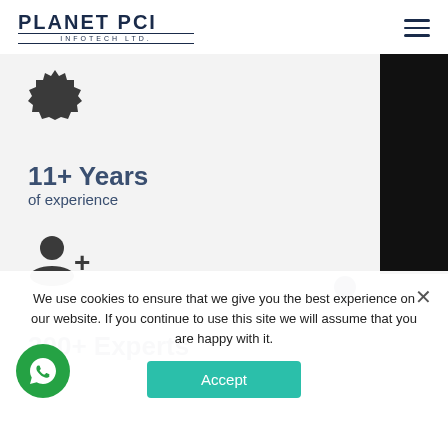PLANET PCI INFOTECH LTD.
[Figure (logo): Planet PCI Infotech Ltd. company logo with hamburger menu icon]
[Figure (illustration): Star/gear decorative icon in dark color]
11+ Years
of experience
[Figure (illustration): Add user / person plus icon in dark color]
300+ Experts
of
[Figure (illustration): Cookie consent overlay with Accept button and close X. Text: We use cookies to ensure that we give you the best experience on our website. If you continue to use this site we will assume that you are happy with it.]
[Figure (illustration): WhatsApp circular button icon (green)]